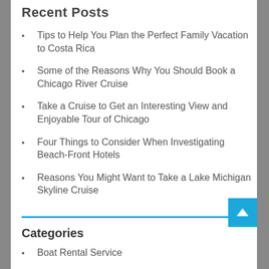Recent Posts
Tips to Help You Plan the Perfect Family Vacation to Costa Rica
Some of the Reasons Why You Should Book a Chicago River Cruise
Take a Cruise to Get an Interesting View and Enjoyable Tour of Chicago
Four Things to Consider When Investigating Beach-Front Hotels
Reasons You Might Want to Take a Lake Michigan Skyline Cruise
Categories
Boat Rental Service
Car Rental Companies
Cruise Lines
General